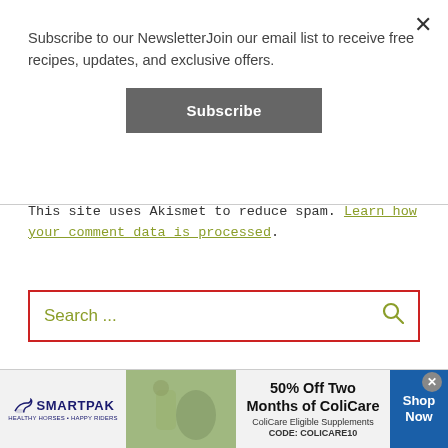Subscribe to our NewsletterJoin our email list to receive free recipes, updates, and exclusive offers.
Subscribe
This site uses Akismet to reduce spam. Learn how your comment data is processed.
Search ...
SEARCH BY CATEGORY
[Figure (screenshot): SmartPak advertisement banner: logo on left, product/horse image in center, 50% Off Two Months of ColiCare offer text, Shop Now button on right]